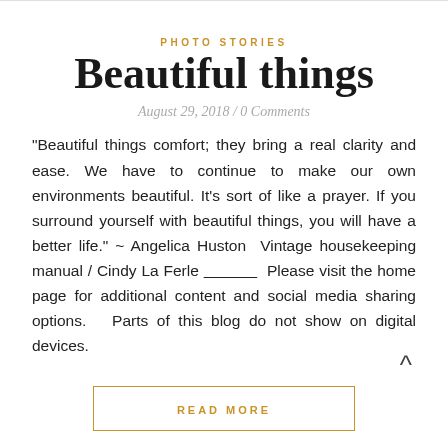PHOTO STORIES
Beautiful things
August 29, 2018 / 0 Comments
“Beautiful things comfort; they bring a real clarity and ease. We have to continue to make our own environments beautiful. It’s sort of like a prayer. If you surround yourself with beautiful things, you will have a better life.” ~ Angelica Huston  Vintage housekeeping manual / Cindy La Ferle ___________  Please visit the home page for additional content and social media sharing options.   Parts of this blog do not show on digital devices.
READ MORE